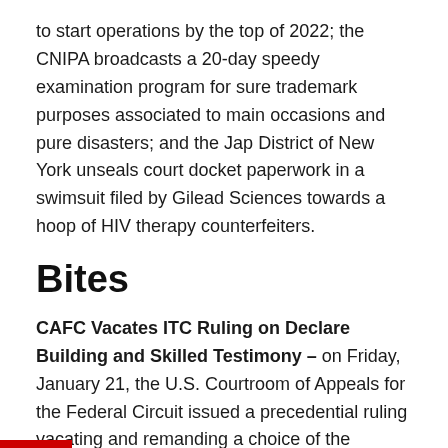to start operations by the top of 2022; the CNIPA broadcasts a 20-day speedy examination program for sure trademark purposes associated to main occasions and pure disasters; and the Jap District of New York unseals court docket paperwork in a swimsuit filed by Gilead Sciences towards a hoop of HIV therapy counterfeiters.
Bites
CAFC Vacates ITC Ruling on Declare Building and Skilled Testimony – on Friday, January 21, the U.S. Courtroom of Appeals for the Federal Circuit issued a precedential ruling vacating and remanding a choice of the Worldwide Commerce Fee (ITC) on a number of points, together with that the Fee abused its discretion in permitting knowledgeable testimony from an individual missing the requisite talent within the artwork and that the ITC's Administrative Regulation Choose